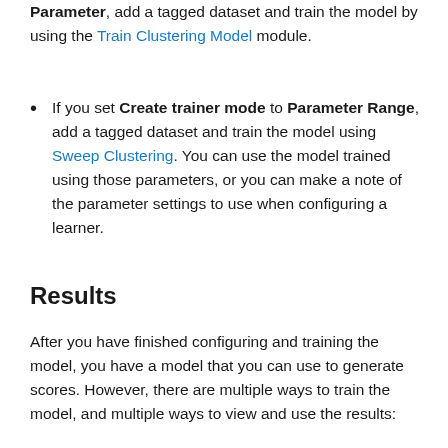Parameter, add a tagged dataset and train the model by using the Train Clustering Model module.
If you set Create trainer mode to Parameter Range, add a tagged dataset and train the model using Sweep Clustering. You can use the model trained using those parameters, or you can make a note of the parameter settings to use when configuring a learner.
Results
After you have finished configuring and training the model, you have a model that you can use to generate scores. However, there are multiple ways to train the model, and multiple ways to view and use the results: